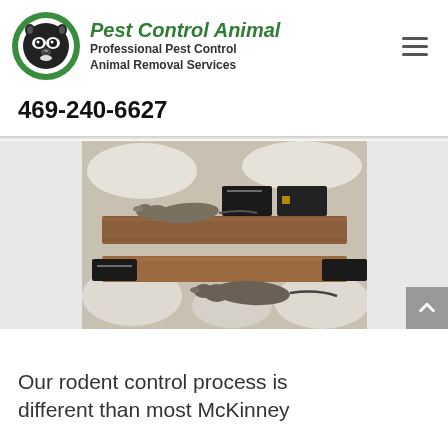[Figure (logo): Pest Control Animal logo: circular green-bordered logo with raccoon face, next to bold italic green text 'Pest Control Animal' and subtitle 'Professional Pest Control Animal Removal Services']
469-240-6627
[Figure (photo): Photo of rats caught in traps on wooden boards with insulation material around them]
Our rodent control process is different than most McKinney